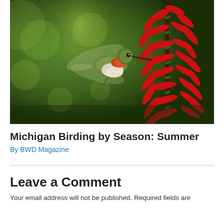[Figure (photo): A ruby-throated hummingbird hovering near bright red cardinal flower blooms against a dark green bokeh background. The bird has iridescent green plumage and an orange-red throat patch.]
Michigan Birding by Season: Summer
By BWD Magazine
Leave a Comment
Your email address will not be published. Required fields are